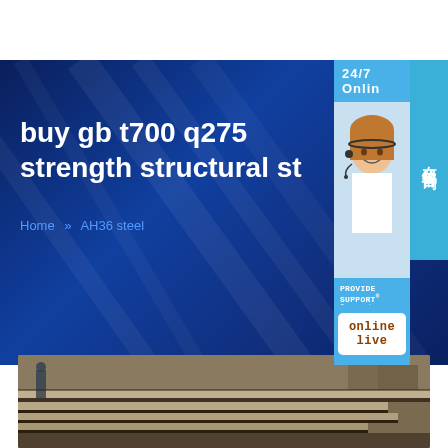buy gb t700 q275 strength structural st
Home » AH36 steel
24/7 Online
在线咨询
PROVIDE SUPPORT® Empowering Customer Service
online live
[Figure (photo): Steel plates stacked in an industrial yard, viewed from ground level with a worker in the background.]